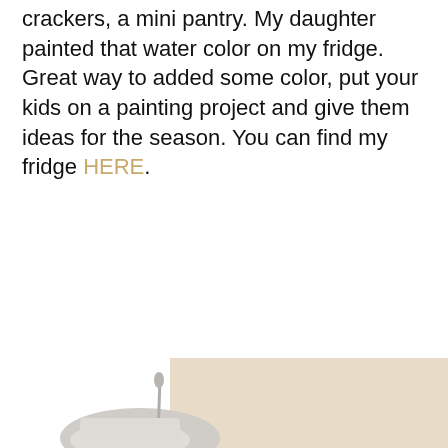crackers, a mini pantry. My daughter painted that water color on my fridge. Great way to added some color, put your kids on a painting project and give them ideas for the season. You can find my fridge HERE.
[Figure (photo): Partial view of a kitchen scene at the bottom of the page, showing what appears to be a white object and a beige/tan background on the right side]